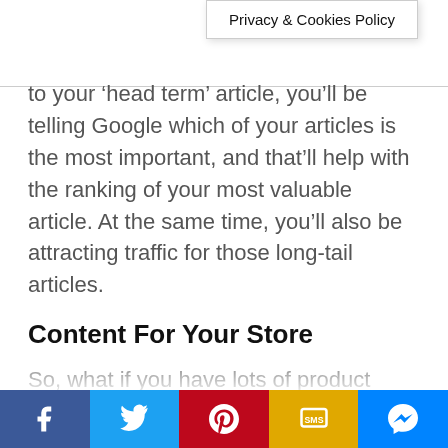Privacy & Cookies Policy
to your ‘head term’ article, you’ll be telling Google which of your articles is the most important, and that’ll help with the ranking of your most valuable article. At the same time, you’ll also be attracting traffic for those long-tail articles.
Content For Your Store
So, what if you have lots of product pages for a type of horse feed? Let’s say you have a big assortment: feeds for thin horses, feeds for fat horses, feeds for sport horses etc. Should you optimize all your product pages with feeds fo